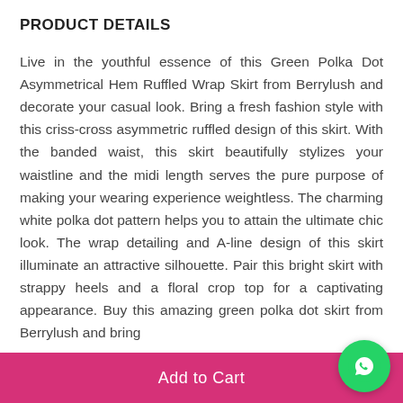PRODUCT DETAILS
Live in the youthful essence of this Green Polka Dot Asymmetrical Hem Ruffled Wrap Skirt from Berrylush and decorate your casual look. Bring a fresh fashion style with this criss-cross asymmetric ruffled design of this skirt. With the banded waist, this skirt beautifully stylizes your waistline and the midi length serves the pure purpose of making your wearing experience weightless. The charming white polka dot pattern helps you to attain the ultimate chic look. The wrap detailing and A-line design of this skirt illuminate an attractive silhouette. Pair this bright skirt with strappy heels and a floral crop top for a captivating appearance. Buy this amazing green polka dot skirt from Berrylush and bring
Add to Cart